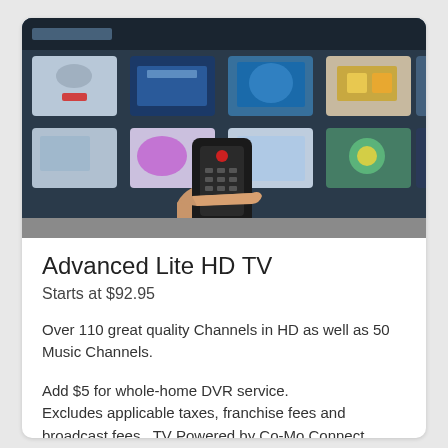[Figure (photo): A hand holding a TV remote control pointed toward a large smart TV screen displaying a colorful grid of app tiles and channel thumbnails in various blues, whites, and other colors.]
Advanced Lite HD TV
Starts at $92.95
Over 110 great quality Channels in HD as well as 50 Music Channels.
Add $5 for whole-home DVR service. Excludes applicable taxes, franchise fees and broadcast fees. TV Powered by Co-Mo Connect.